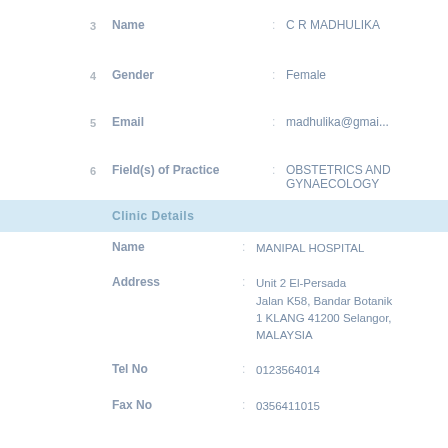3  Name  :  C R MADHULIKA
4  Gender  :  Female
5  Email  :  madhulika@gmail...
6  Field(s) of Practice  :  OBSTETRICS AND GYNAECOLOGY
Clinic Details
Name  :  MANIPAL HOSPITAL
Address  :  Unit 2 El-Persada, Jalan K58, Bandar Botanik, 1 KLANG 41200 Selangor, MALAYSIA
Tel No  :  0123564014
Fax No  :  0356411015